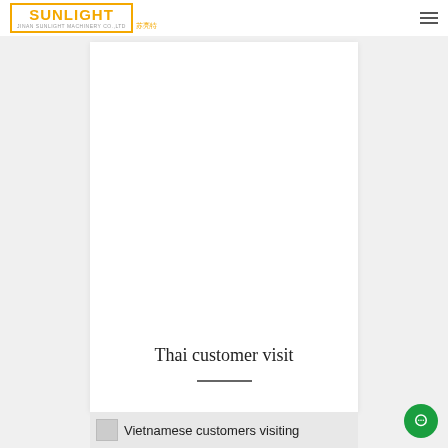SUNLIGHT 苏亮特 JINAN SUNLIGHT MACHINERY CO.,LTD
[Figure (photo): White card with Thai customer visit title and horizontal divider line]
Thai customer visit
[Figure (photo): Vietnamese customers visiting - partially visible image at bottom of page]